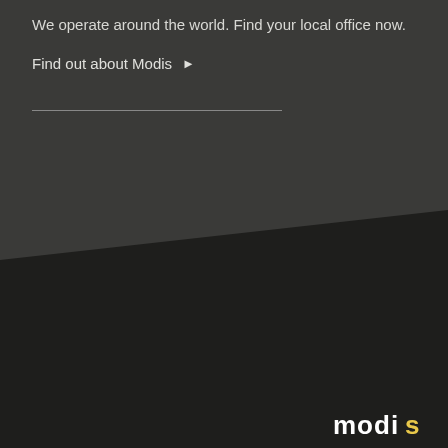We operate around the world. Find your local office now.
Find out about Modis ▶
[Figure (illustration): Dark charcoal diagonal background design with two-tone dark sections: upper section is slightly lighter charcoal (#3a3a38) and lower section is very dark near-black (#1e1e1c), separated by a diagonal edge. A partially visible 'modis' logo appears in the bottom-right corner in white/yellow lettering.]